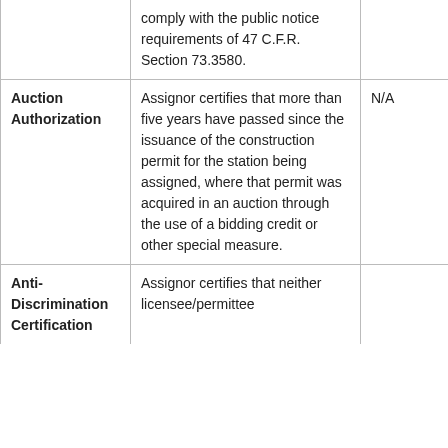|  | comply with the public notice requirements of 47 C.F.R. Section 73.3580. |  |
| Auction Authorization | Assignor certifies that more than five years have passed since the issuance of the construction permit for the station being assigned, where that permit was acquired in an auction through the use of a bidding credit or other special measure. | N/A |
| Anti-Discrimination Certification | Assignor certifies that neither licensee/permittee |  |